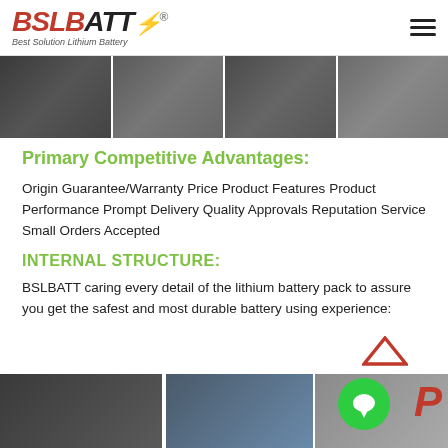BSLBATT — Best Solution Lithium Battery
[Figure (photo): Four image strip showing lithium battery packs and equipment in warehouse/manufacturing settings]
Primary Competitive Advantages:
Origin Guarantee/Warranty Price Product Features Product Performance Prompt Delivery Quality Approvals Reputation Service Small Orders Accepted
INTERNAL STRUCTURE:
BSLBATT caring every detail of the lithium battery pack to assure you get the safest and most durable battery using experience:
[Figure (photo): Two-panel image strip showing internal battery components and manufacturing process]